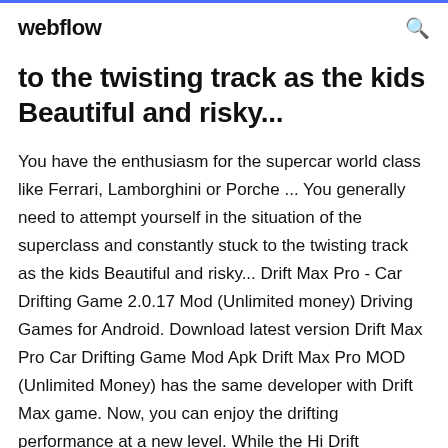webflow
to the twisting track as the kids Beautiful and risky...
You have the enthusiasm for the supercar world class like Ferrari, Lamborghini or Porche ... You generally need to attempt yourself in the situation of the superclass and constantly stuck to the twisting track as the kids Beautiful and risky... Drift Max Pro - Car Drifting Game 2.0.17 Mod (Unlimited money) Driving Games for Android. Download latest version Drift Max Pro Car Drifting Game Mod Apk Drift Max Pro MOD (Unlimited Money) has the same developer with Drift Max game. Now, you can enjoy the drifting performance at a new level. While the Hi Drift